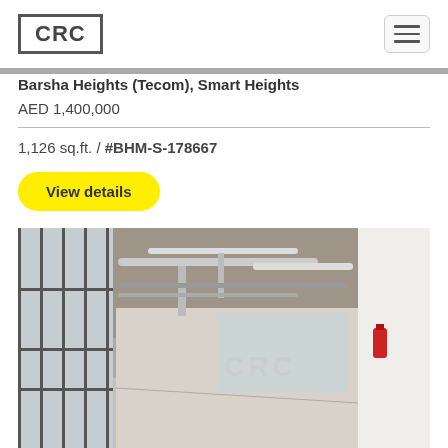[Figure (logo): CRC logo with bold text in a rectangular border]
Barsha Heights (Tecom), Smart Heights
AED 1,400,000
1,126 sq.ft. / #BHM-S-178667
View details
[Figure (photo): Interior photo of an empty commercial office space with floor-to-ceiling glass windows on the left, exposed concrete ceiling with pipes, and a fire extinguisher on the right wall. CRC watermark visible in center.]